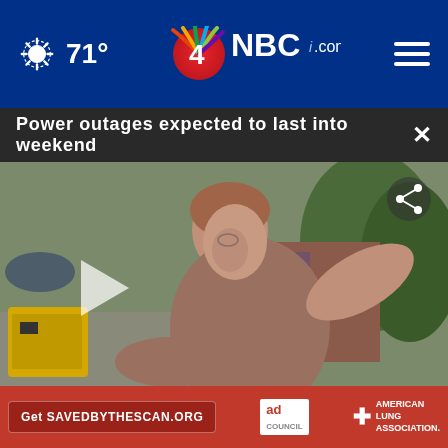71° NBC4i.com
Power outages expected to last into weekend
[Figure (screenshot): Video thumbnail showing a woman gesturing outdoors near a generator and trees, with a play button overlay and share icon]
a very playful and
ve fun and likes to play
Ho
the
for you and
celebrates
[Figure (infographic): Ad banner: Get SAVEDBYTHESCAN.ORG button, Ad Council badge, American Lung Association logo]